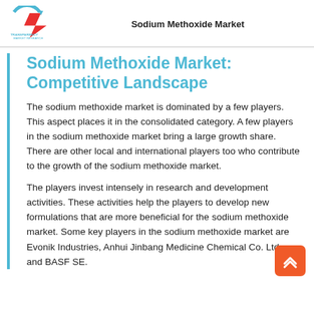Sodium Methoxide Market
Sodium Methoxide Market: Competitive Landscape
The sodium methoxide market is dominated by a few players. This aspect places it in the consolidated category. A few players in the sodium methoxide market bring a large growth share. There are other local and international players too who contribute to the growth of the sodium methoxide market.
The players invest intensely in research and development activities. These activities help the players to develop new formulations that are more beneficial for the sodium methoxide market. Some key players in the sodium methoxide market are Evonik Industries, Anhui Jinbang Medicine Chemical Co. Ltd., and BASF SE.